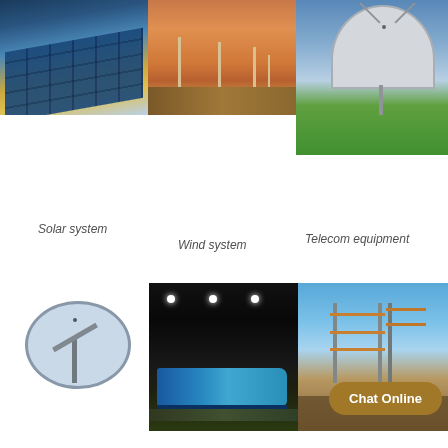[Figure (photo): Three photos in a row: solar panels at sunset, wind turbines in a field, and a large satellite dish on a hillside]
Solar system
Wind system
Telecom equipment
[Figure (photo): Three photos in a row: satellite dish against cloudy sky, train at night with lights, power substation infrastructure]
Chat Online